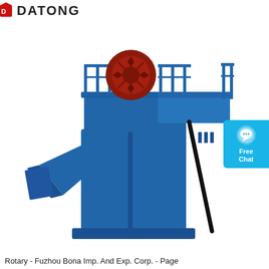[Figure (logo): DATONG company logo with red shield/flag icon and bold text]
[Figure (photo): Large industrial blue bucket elevator / bucket conveyor machine with red flywheel on top, metal safety railing platform, discharge chute on lower left, and diagonal support strut on the right side]
[Figure (other): Light blue Free Chat badge/button on right side]
Rotary - Fuzhou Bona Imp. And Exp. Corp. - Page